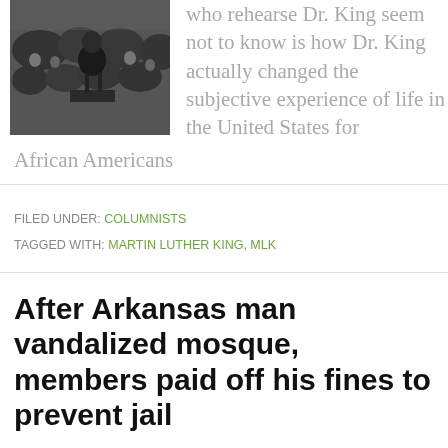[Figure (photo): Black and white photograph of Martin Luther King Jr. speaking at a podium with a crowd in the background]
who rehearse Dr. King seem not to know is how Dr. King actually changed the subjective experience of life in the United States for African Americans
FILED UNDER: COLUMNISTS
TAGGED WITH: MARTIN LUTHER KING, MLK
After Arkansas man vandalized mosque, members paid off his fines to prevent jail